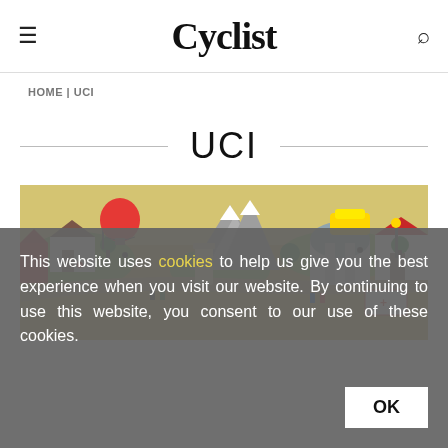Cyclist
HOME | UCI
UCI
[Figure (illustration): Illustrated map/scene showing cyclists, buildings, mountains, a helicopter, vehicles, and people in a cartoonish top-down perspective view of a cycling event landscape.]
This website uses cookies to help us give you the best experience when you visit our website. By continuing to use this website, you consent to our use of these cookies.